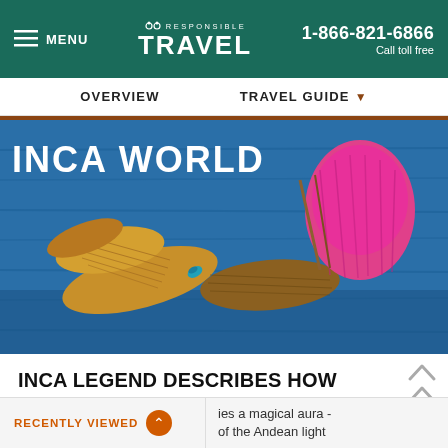MENU | RESPONSIBLE TRAVEL | 1-866-821-6866 Call toll free
OVERVIEW   TRAVEL GUIDE
[Figure (photo): Reed boats on Lake Titicaca with a woman in a bright pink skirt visible in the background, blue water behind. Text overlay reads INCA WORLD.]
INCA LEGEND DESCRIBES HOW THEIR FOUNDING GODS EMERGED FROM LAKE TITICACA
ies a magical aura - of the Andean light
RECENTLY VIEWED